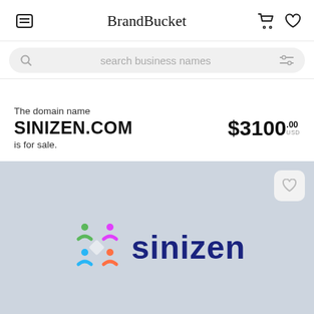BrandBucket
search business names
The domain name SINIZEN.COM is for sale. $3100.00 USD
[Figure (logo): Sinizen logo: colorful pinwheel-like figure made of four people shapes (green, pink/magenta, orange, blue) arranged in a square, next to the word 'sinizen' in dark navy blue bold text.]